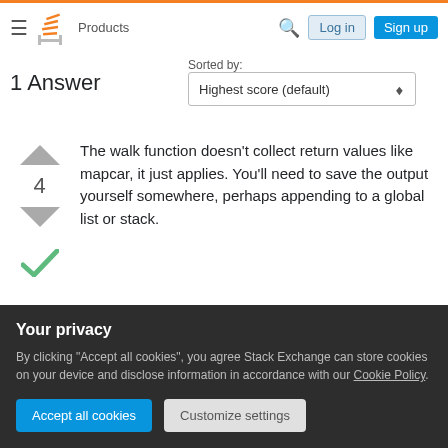≡ [Stack Overflow logo] Products 🔍 Log in Sign up
Sorted by:
1 Answer
Highest score (default)
The walk function doesn't collect return values like mapcar, it just applies. You'll need to save the output yourself somewhere, perhaps appending to a global list or stack.
(let (files)
    (cl-fad:walk-directory "/tmp/" #'(la
    files)
Your privacy
By clicking "Accept all cookies", you agree Stack Exchange can store cookies on your device and disclose information in accordance with our Cookie Policy.
Accept all cookies
Customize settings